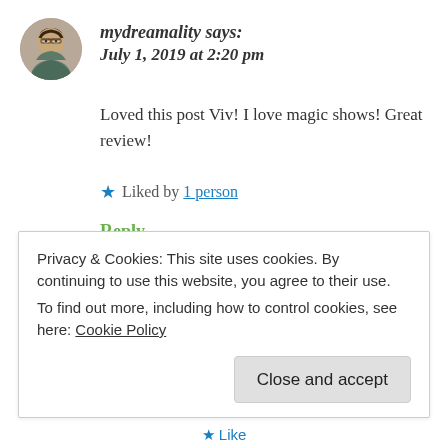[Figure (photo): Circular avatar photo of a woman with glasses and brown hair]
mydreamality says:
July 1, 2019 at 2:20 pm
Loved this post Viv! I love magic shows! Great review!
★ Liked by 1 person
Reply
Chocoviv says:
Privacy & Cookies: This site uses cookies. By continuing to use this website, you agree to their use.
To find out more, including how to control cookies, see here: Cookie Policy
Close and accept
★ Like